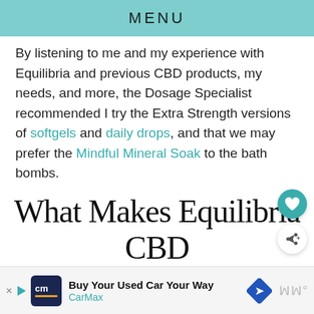MENU
By listening to me and my experience with Equilibria and previous CBD products, my needs, and more, the Dosage Specialist recommended I try the Extra Strength versions of softgels and daily drops, and that we may prefer the Mindful Mineral Soak to the bath bombs.
What Makes Equilibria CBD Different
Okay, so here is where the skeptic was im...
[Figure (screenshot): CarMax advertisement banner at bottom of page: CarMax logo, 'Buy Your Used Car Your Way', CarMax text, navigation arrow icon, and muted audio dots icon.]